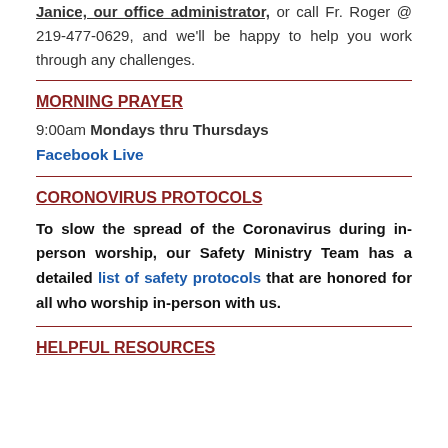Janice, our office administrator, or call Fr. Roger @ 219-477-0629, and we'll be happy to help you work through any challenges.
MORNING PRAYER
9:00am Mondays thru Thursdays
Facebook Live
CORONOVIRUS PROTOCOLS
To slow the spread of the Coronavirus during in-person worship, our Safety Ministry Team has a detailed list of safety protocols that are honored for all who worship in-person with us.
HELPFUL RESOURCES